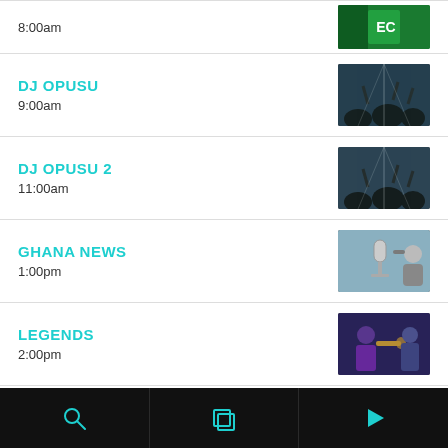8:00am
DJ OPUSU
9:00am
DJ OPUSU 2
11:00am
GHANA NEWS
1:00pm
LEGENDS
2:00pm
DJ BUGATTI
3:00pm
Search | Grid | Play